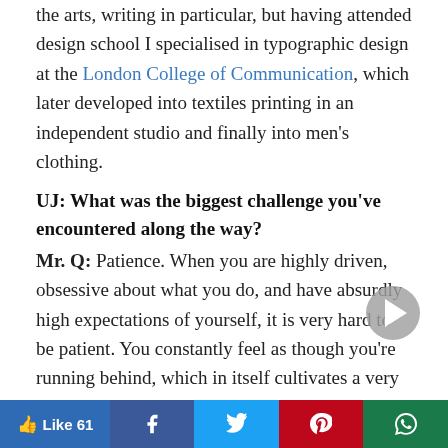the arts, writing in particular, but having attended design school I specialised in typographic design at the London College of Communication, which later developed into textiles printing in an independent studio and finally into men's clothing.
UJ: What was the biggest challenge you've encountered along the way?
Mr. Q: Patience. When you are highly driven, obsessive about what you do, and have absurdly high expectations of yourself, it is very hard to be patient. You constantly feel as though you're running behind, which in itself cultivates a very hardened sense of self criticism. But learning to be patient is hugely rewarding and should be the basis of anything that you are committed to doing
Like 61 | Facebook | Twitter | Pinterest | WhatsApp